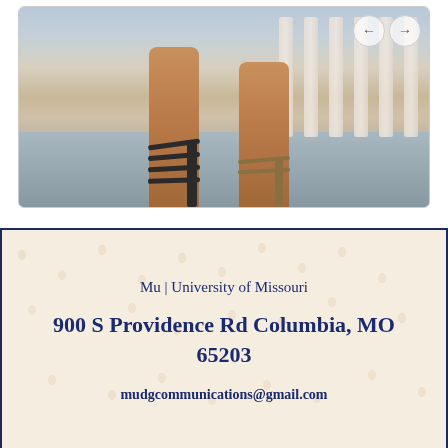[Figure (photo): Cropped photo showing two people's legs wearing sandals standing on a wooden porch with white railing visible in the background. Navigation arrows (back/forward) visible in top right corner of image.]
Mu | University of Missouri
900 S Providence Rd Columbia, MO 65203
mudgcommunications@gmail.com